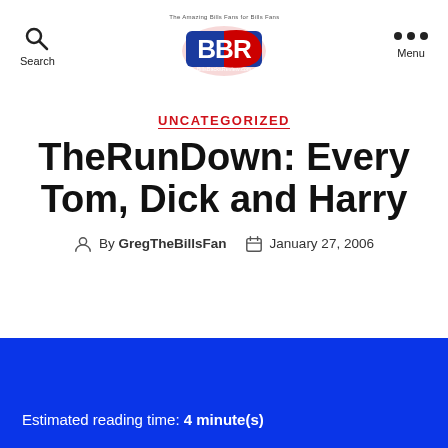Search | BBR Logo | Menu
UNCATEGORIZED
TheRunDown: Every Tom, Dick and Harry
By GregTheBillsFan  January 27, 2006
Estimated reading time: 4 minute(s)